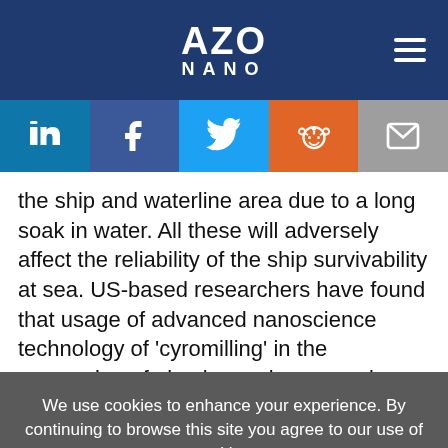AZO NANO
[Figure (infographic): Social sharing bar with LinkedIn, Facebook, Twitter, Reddit, and Email icons]
the ship and waterline area due to a long soak in water. All these will adversely affect the reliability of the ship survivability at sea. US-based researchers have found that usage of advanced nanoscience technology of 'cyromilling' in the processing of aluminum gives superior material for light and tough applications.
We use cookies to enhance your experience. By continuing to browse this site you agree to our use of cookies. More info.
✔ Accept   Cookie Settings